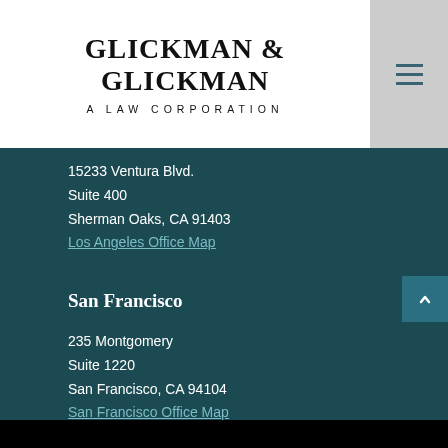GLICKMAN & GLICKMAN A LAW CORPORATION
15233 Ventura Blvd.
Suite 400
Sherman Oaks, CA 91403
Los Angeles Office Map
San Francisco
235 Montgomery
Suite 1220
San Francisco, CA 94104
San Francisco Office Map